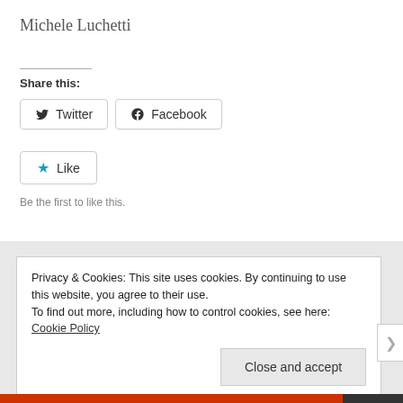Michele Luchetti
Share this:
[Figure (other): Twitter and Facebook share buttons with icons]
[Figure (other): Like button with blue star icon]
Be the first to like this.
Privacy & Cookies: This site uses cookies. By continuing to use this website, you agree to their use. To find out more, including how to control cookies, see here: Cookie Policy
Close and accept